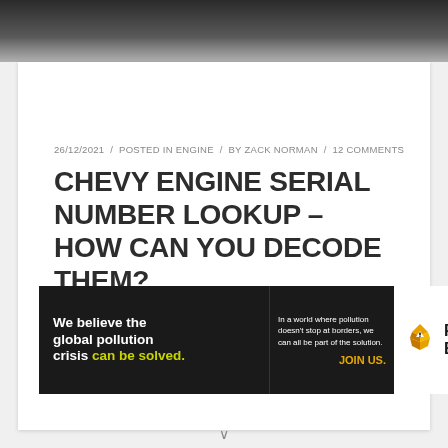[Figure (photo): Dark blurry photo of a car engine or mechanical component, used as a hero/banner image at the top of the page.]
26/12/2021  /  POSTED IN ENGINE  /  BY ZACK NORMAN  /  12 COMMENTS
CHEVY ENGINE SERIAL NUMBER LOOKUP – HOW CAN YOU DECODE THEM?
[Figure (infographic): Pure Earth advertisement banner. Black background left section reads: 'We believe the global pollution crisis can be solved.' with 'can be solved.' in green. Middle section reads: 'In a world where pollution doesn't stop at borders, we can all be part of the solution.' followed by 'JOIN US.' in yellow/amber. Right section shows Pure Earth logo with diamond shapes and text 'PURE EARTH' on white background.]